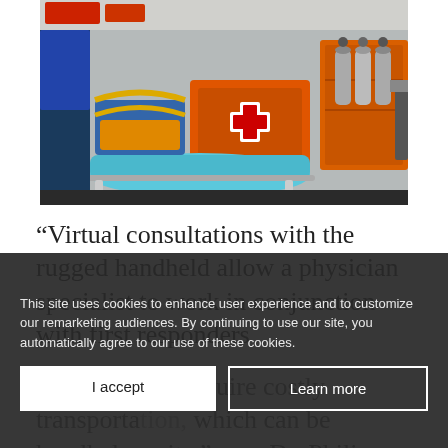[Figure (photo): Interior of an ambulance showing orange equipment cases with a red cross symbol, a gurney with blue padding, medical gas cylinders (oxygen tanks) in orange cabinet, various medical equipment bags and supplies strapped down.]
“Virtual consultations with the rugged handheld allow a physician specialist to work in conjunction with first responders a[nd determine which cases are truly] emergent and require costly transporta[tion, and] which can be handled on site,” says Dr. Philip
This site uses cookies to enhance user experience and to customize our remarketing audiences. By continuing to use our site, you automatically agree to our use of these cookies.